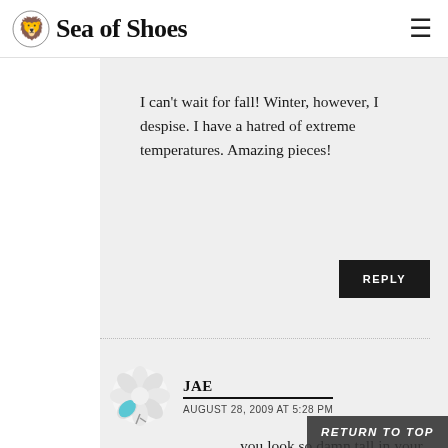Sea of Shoes
I can't wait for fall! Winter, however, I despise. I have a hatred of extreme temperatures. Amazing pieces!
REPLY
JAE
AUGUST 28, 2009 AT 5:28 PM
you look so damn tall in your first two shots
RETURN TO TOP